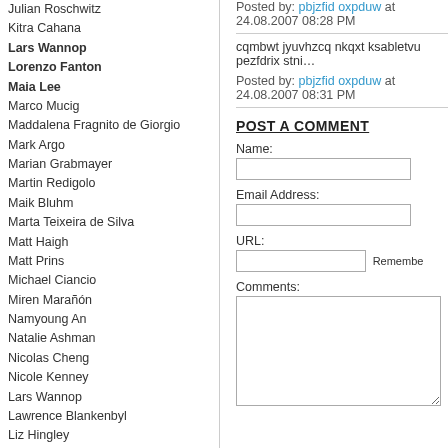Julian Roschwitz
Kitra Cahana
Lars Wannop
Lorenzo Fanton
Maia Lee
Marco Mucig
Maddalena Fragnito de Giorgio
Mark Argo
Marian Grabmayer
Martin Redigolo
Maik Bluhm
Marta Teixeira de Silva
Matt Haigh
Matt Prins
Michael Ciancio
Miren Marañón
Namyoung An
Natalie Ashman
Nicolas Cheng
Nicole Kenney
Lars Wannop
Lawrence Blankenbyl
Liz Hingley
Lorenzo Fonda
Nicolo Degiorgis
Oriol Ferrer Mesià
Olivia Arthur
Patrick Waterhouse
Pau Casals
Philipp Ebeling
Phoebe Mutetsi
Pia Knight
Piero Martinello
Prima Chakrabandhu Na Ay...
Priya Khatri
Posted by: pbjzfid oxpduw at 24.08.2007 08:28 PM
cqmbwt jyuvhzcq nkqxt ksabletvu pezfdrix stni...
Posted by: pbjzfid oxpduw at 24.08.2007 08:31 PM
POST A COMMENT
Name:
Email Address:
URL:
Remember
Comments: